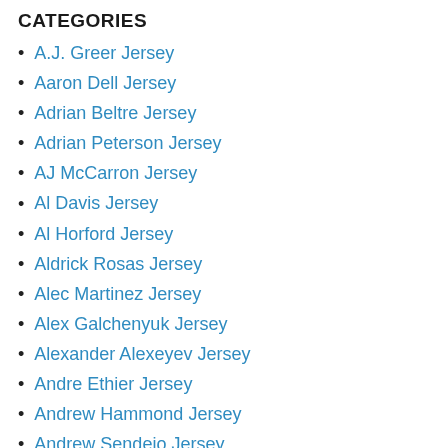CATEGORIES
A.J. Greer Jersey
Aaron Dell Jersey
Adrian Beltre Jersey
Adrian Peterson Jersey
AJ McCarron Jersey
Al Davis Jersey
Al Horford Jersey
Aldrick Rosas Jersey
Alec Martinez Jersey
Alex Galchenyuk Jersey
Alexander Alexeyev Jersey
Andre Ethier Jersey
Andrew Hammond Jersey
Andrew Sendejo Jersey
Andrus Peat Jersey